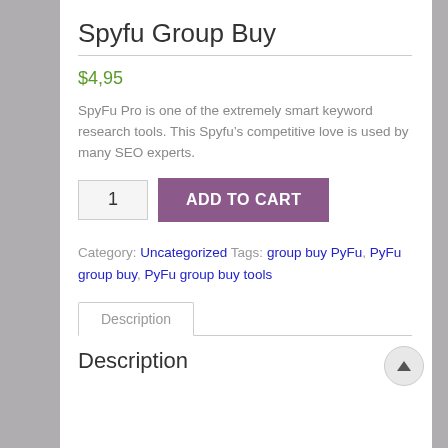Spyfu Group Buy
$4,95
SpyFu Pro is one of the extremely smart keyword research tools. This Spyfu’s competitive love is used by many SEO experts.
Category: Uncategorized Tags: group buy PyFu, PyFu group buy, PyFu group buy tools
Description
Description